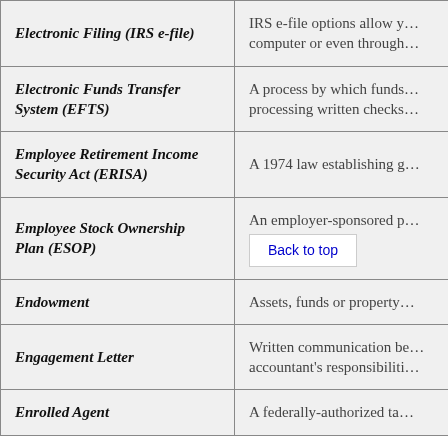| Term | Definition |
| --- | --- |
| Electronic Filing (IRS e-file) | IRS e-file options allow y… computer or even through… |
| Electronic Funds Transfer System (EFTS) | A process by which funds… processing written checks… |
| Employee Retirement Income Security Act (ERISA) | A 1974 law establishing g… |
| Employee Stock Ownership Plan (ESOP) | An employer-sponsored p… |
| Endowment | Assets, funds or property… |
| Engagement Letter | Written communication be… accountant's responsibiliti… |
| Enrolled Agent | A federally-authorized ta… |